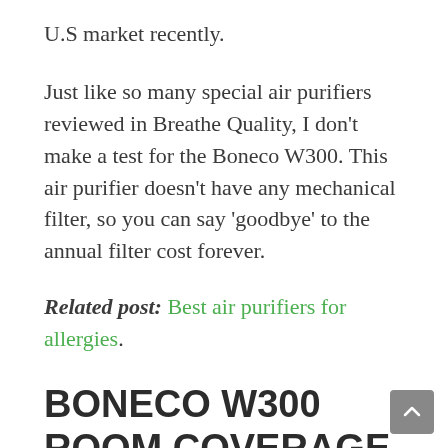U.S market recently.
Just like so many special air purifiers reviewed in Breathe Quality, I don't make a test for the Boneco W300. This air purifier doesn't have any mechanical filter, so you can say 'goodbye' to the annual filter cost forever.
Related post: Best air purifiers for allergies.
BONECO W300 ROOM COVERAGE
Just like any air purifier with evaporating